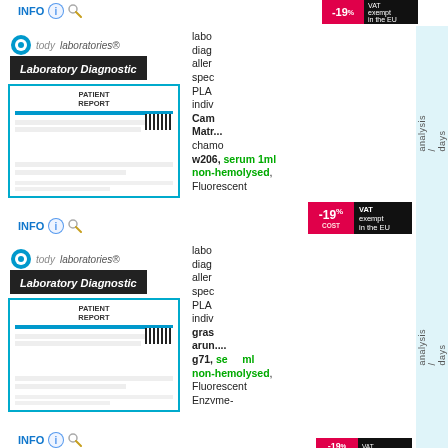[Figure (logo): todylaboratories logo with Laboratory Diagnostic badge, top row (partial)]
INFO
[Figure (other): -19% COST VAT exempt in the EU badge, top row]
[Figure (logo): todylaboratories logo with Laboratory Diagnostic badge, middle row]
[Figure (other): Patient Report document image]
labo diagnostics allergy specific PLASMA individual Cam Matricaria chamomilla w206, serum 1ml non-hemolysed, Fluorescent Enzyme-immunoassay, ssso, todylaboratories®, bmn, code L16LD2359
analysis / days
INFO
[Figure (other): -19% COST VAT exempt in the EU badge, middle row]
[Figure (logo): todylaboratories logo with Laboratory Diagnostic badge, bottom row]
[Figure (other): Patient Report document image, bottom]
labo diagnostics allergy specific PLASMA individual grass arundinella g71, serum 1ml non-hemolysed, Fluorescent Enzyme-immunoassay, ssso, todylaboratories®, bmn, code L16LD2348
analysis / days
INFO
[Figure (other): -19% COST VAT exempt in the EU badge, bottom row (partial)]